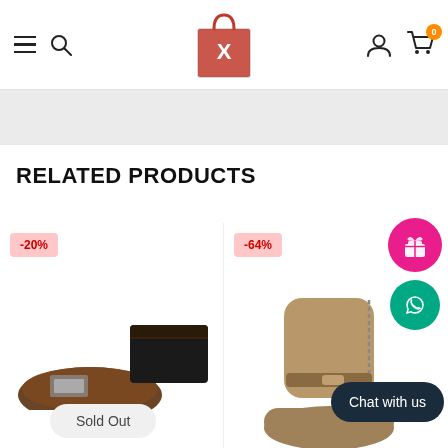Navigation header with hamburger menu, search, logo, user icon, and cart (0 items)
RELATED PRODUCTS
[Figure (photo): Product card with -20% discount badge showing a black leather belt and bifold wallet. Sold Out button below.]
[Figure (photo): Product card with -64% discount badge showing a tan/brown ankle boot. Chat with us button overlay.]